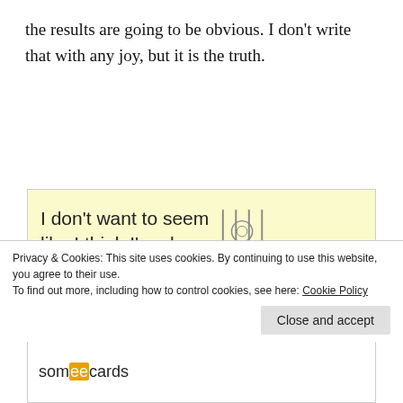the results are going to be obvious. I don't write that with any joy, but it is the truth.
[Figure (illustration): A someecards image with yellow background. Text reads: 'I don't want to seem like I think I'm always right, but I am and that's why it comes across that' with a vintage illustration of two children, a girl in a large hat and dress and a smaller boy, near an ornate gate.]
Privacy & Cookies: This site uses cookies. By continuing to use this website, you agree to their use.
To find out more, including how to control cookies, see here: Cookie Policy
Close and accept
[Figure (logo): someecards logo at the bottom]